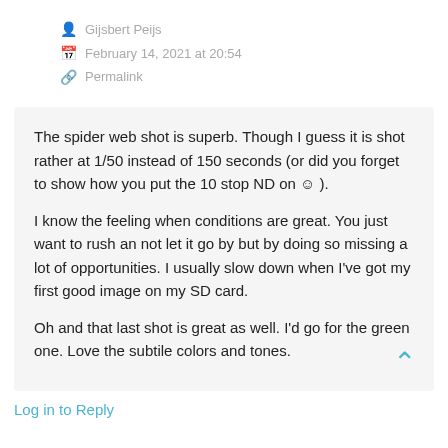Gijsbert Peijs
February 14, 2021 at 20:54
Permalink
The spider web shot is superb. Though I guess it is shot rather at 1/50 instead of 150 seconds (or did you forget to show how you put the 10 stop ND on 🙂 ).

I know the feeling when conditions are great. You just want to rush an not let it go by but by doing so missing a lot of opportunities. I usually slow down when I've got my first good image on my SD card.

Oh and that last shot is great as well. I'd go for the green one. Love the subtile colors and tones.
Log in to Reply